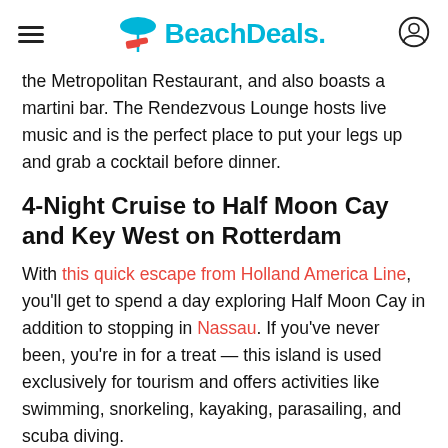BeachDeals
the Metropolitan Restaurant, and also boasts a martini bar. The Rendezvous Lounge hosts live music and is the perfect place to put your legs up and grab a cocktail before dinner.
4-Night Cruise to Half Moon Cay and Key West on Rotterdam
With this quick escape from Holland America Line, you'll get to spend a day exploring Half Moon Cay in addition to stopping in Nassau. If you've never been, you're in for a treat — this island is used exclusively for tourism and offers activities like swimming, snorkeling, kayaking, parasailing, and scuba diving.
Once you depart from Half Moon Cay, you'll head to